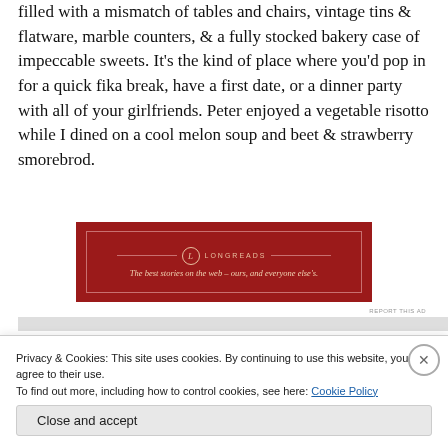filled with a mismatch of tables and chairs, vintage tins & flatware, marble counters, & a fully stocked bakery case of impeccable sweets. It's the kind of place where you'd pop in for a quick fika break, have a first date, or a dinner party with all of your girlfriends. Peter enjoyed a vegetable risotto while I dined on a cool melon soup and beet & strawberry smorebrod.
[Figure (other): Longreads advertisement banner — dark red background with logo and tagline 'The best stories on the web – ours, and everyone else's.']
REPORT THIS AD
Privacy & Cookies: This site uses cookies. By continuing to use this website, you agree to their use.
To find out more, including how to control cookies, see here: Cookie Policy
Close and accept